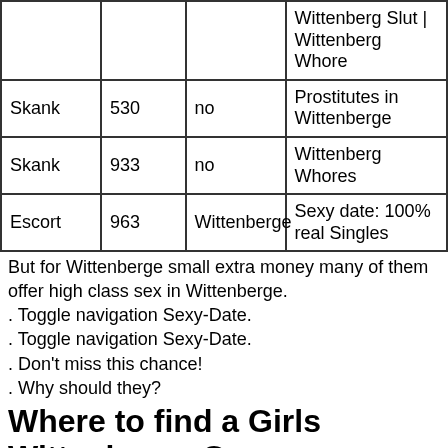|  |  |  | Wittenberg Slut | Wittenberg Whore |
| Skank | 530 | no | Prostitutes in Wittenberge |
| Skank | 933 | no | Wittenberg Whores |
| Escort | 963 | Wittenberge | Sexy date: 100% real Singles |
But for Wittenberge small extra money many of them offer high class sex in Wittenberge.
. Toggle navigation Sexy-Date.
. Toggle navigation Sexy-Date.
. Don't miss this chance!
. Why should they?
Where to find a Girls Wittenberge Germany 3807344